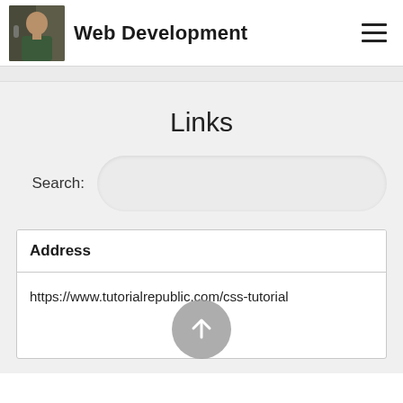Web Development
Links
Search:
| Address |
| --- |
| https://www.tutorialrepublic.com/css-tutorial |